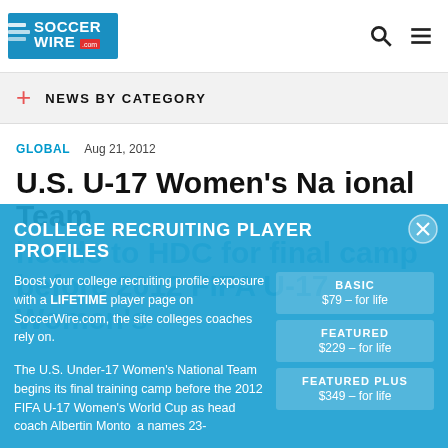SoccerWire.com
NEWS BY CATEGORY
GLOBAL  Aug 21, 2012
U.S. U-17 Women's National Team heads to HDC for final camp before 2012 FIFA U-17 Women's
[Figure (infographic): College Recruiting Player Profiles overlay advertisement with Basic ($79 for life), Featured ($229 for life), Featured Plus ($349 for life) tiers and Add a Player Now button]
The U.S. Under-17 Women's National Team begins its final training camp before the 2012 FIFA U-17 Women's World Cup as head coach Albertin Montoya names 23-